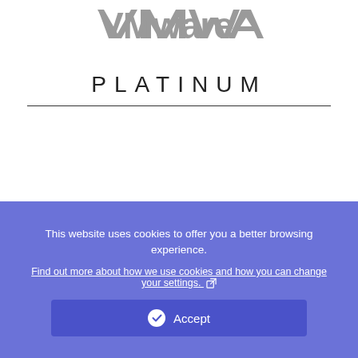[Figure (logo): VMware logo in gray at top of page]
PLATINUM
This website uses cookies to offer you a better browsing experience.
Find out more about how we use cookies and how you can change your settings.
Accept